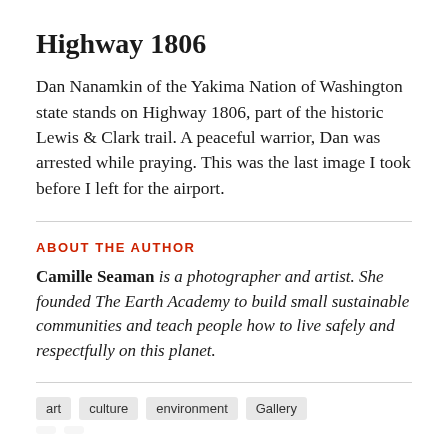Highway 1806
Dan Nanamkin of the Yakima Nation of Washington state stands on Highway 1806, part of the historic Lewis & Clark trail. A peaceful warrior, Dan was arrested while praying. This was the last image I took before I left for the airport.
ABOUT THE AUTHOR
Camille Seaman is a photographer and artist. She founded The Earth Academy to build small sustainable communities and teach people how to live safely and respectfully on this planet.
art
culture
environment
Gallery